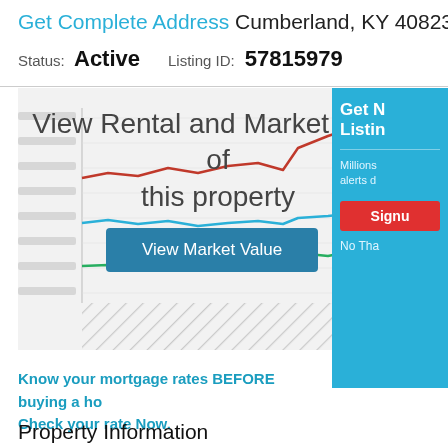Get Complete Address Cumberland, KY 40823
Status: Active   Listing ID: 57815979
[Figure (line-chart): Line chart with three lines (red, blue, green) showing rental and market value trends over time. Partially obscured by overlay text.]
View Rental and Market value of this property
View Market Value
Get N Listin Millions alerts d Signu No Tha
Know your mortgage rates BEFORE buying a ho Check your rate Now.
Property Information
Day(s) On Site:   Sign in to view
Trustee Name:   Sign in to view